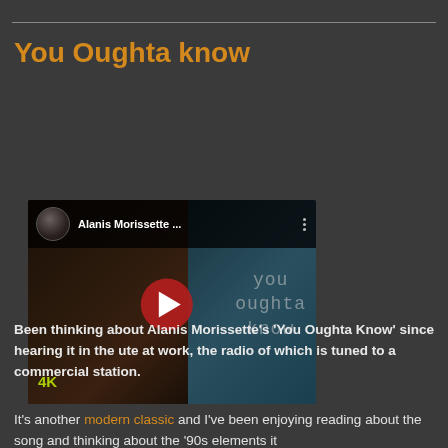You Oughta know
[Figure (screenshot): YouTube video embed showing Alanis Morissette 'You Oughta Know' music video thumbnail with play button, 4K label, and video bar with avatar and title]
Been thinking about Alanis Morissette's 'You Oughta Know' since hearing it in the ute at work, the radio of which is tuned to a commercial station.
It's another modern classic and I've been enjoying reading about the song and thinking about the '90s elements it